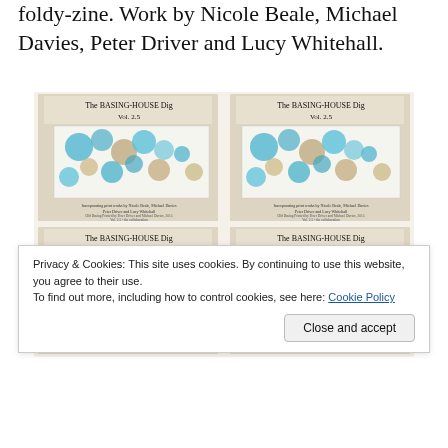foldy-zine. Work by Nicole Beale, Michael Davies, Peter Driver and Lucy Whitehall.
[Figure (photo): Four copies of 'The BASING-HOUSE Dig Vol. 2.5' foldy-zine arranged in a 2x2 grid, showing covers with colorful teal and gold circle/bubble pattern artwork, with small text crediting contributors.]
Privacy & Cookies: This site uses cookies. By continuing to use this website, you agree to their use. To find out more, including how to control cookies, see here: Cookie Policy
Close and accept